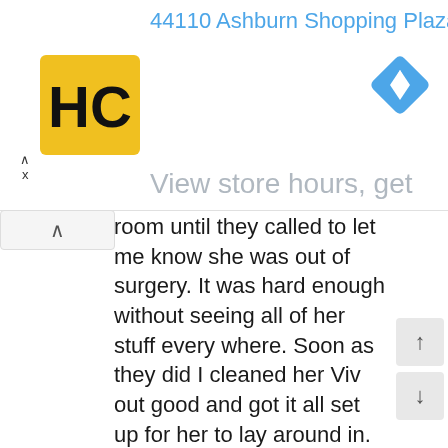[Figure (screenshot): Advertisement banner showing '44110 Ashburn Shopping Plaza 1.' in blue text, an HC logo (yellow square with black HC letters), a blue diamond navigation icon, a 'View store hours, get' prompt in gray, a collapse/up arrow button, and close X button.]
room until they called to let me know she was out of surgery. It was hard enough without seeing all of her stuff every where. Soon as they did I cleaned her Viv out good and got it all set up for her to lay around in.

I do have a liquid pain med to give her once a day starting tomorrow. It's banana flavor supposedly so hopefully she won't fight it since she loves Bananas. I was told I could start her on her regular diet as soon as she's ready to eat but I'll probably start slow to be safe. She'll probably be hungry. She didn't eat anything but a few licks of things for 2 days before the procedure. Now just got to wait for her to heal